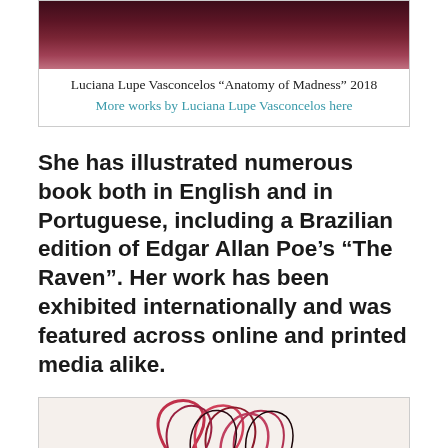[Figure (photo): Top portion of artwork by Luciana Lupe Vasconcelos, dark reddish-maroon abstract painting, title 'Anatomy of Madness' 2018]
Luciana Lupe Vasconcelos “Anatomy of Madness” 2018
More works by Luciana Lupe Vasconcelos here
She has illustrated numerous book both in English and in Portuguese, including a Brazilian edition of Edgar Allan Poe’s “The Raven”. Her work has been exhibited internationally and was featured across online and printed media alike.
[Figure (photo): Illustration by Luciana Lupe Vasconcelos showing flowing red and dark hair, part of a figure on a light cream background]